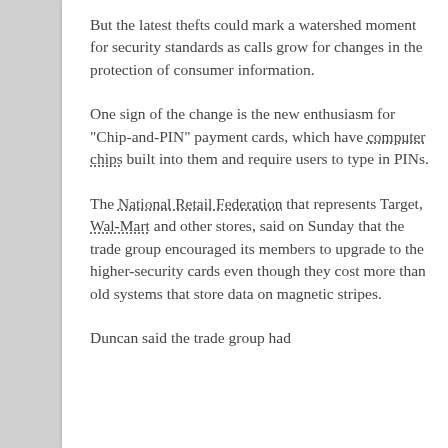But the latest thefts could mark a watershed moment for security standards as calls grow for changes in the protection of consumer information.
One sign of the change is the new enthusiasm for "Chip-and-PIN" payment cards, which have computer chips built into them and require users to type in PINs.
The National Retail Federation that represents Target, Wal-Mart and other stores, said on Sunday that the trade group encouraged its members to upgrade to the higher-security cards even though they cost more than old systems that store data on magnetic stripes.
Duncan said the trade group had